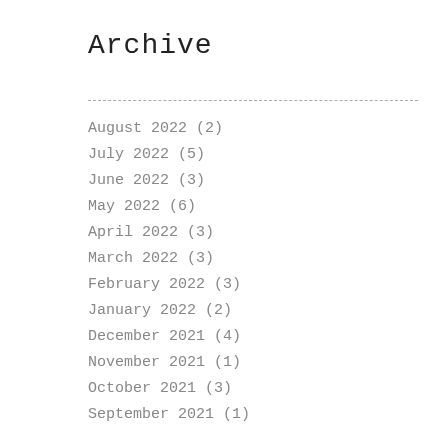Archive
August 2022 (2)
July 2022 (5)
June 2022 (3)
May 2022 (6)
April 2022 (3)
March 2022 (3)
February 2022 (3)
January 2022 (2)
December 2021 (4)
November 2021 (1)
October 2021 (3)
September 2021 (1)
August 2021 (2)
July 2021 (3)
June 2021 (3)
May 2021 (2)